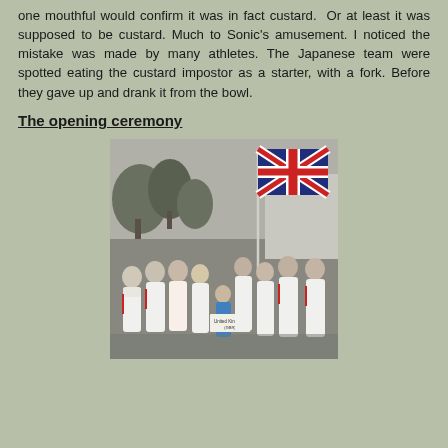one mouthful would confirm it was in fact custard. Or at least it was supposed to be custard. Much to Sonic's amusement. I noticed the mistake was made by many athletes. The Japanese team were spotted eating the custard impostor as a starter, with a fork. Before they gave up and drank it from the bowl.
The opening ceremony
[Figure (photo): Group photo of British Olympic athletes in white Team GB tracksuits with red Union Jack details, posing outdoors. One athlete holds a large Union Jack flag. A child in a blue outfit holds a sign reading 'United Kingdom (GBR)'. Trees and a building are visible in the background.]